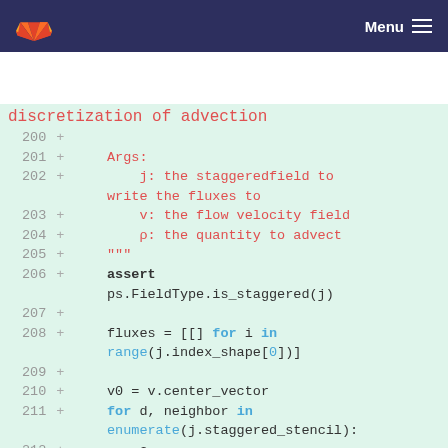Menu
Code diff view showing lines 200-212 of a Python source file with git additions (+). Content includes a docstring describing arguments (j: staggeredfield, v: flow velocity field, p: quantity to advect), followed by assert ps.FieldType.is_staggered(j), fluxes assignment with list comprehension using range(j.index_shape[0]), v0 assignment, for loop with enumerate(j.staggered_stencil), and c assignment using ps.stencil.direction_string_to_offset(neighbor).